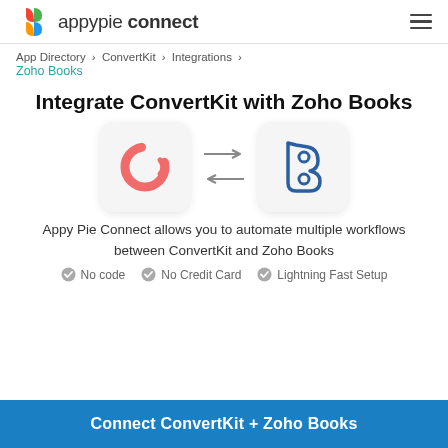appypie connect
App Directory > ConvertKit > Integrations > Zoho Books
Integrate ConvertKit with Zoho Books
[Figure (illustration): ConvertKit logo (pink circular arrow) and Zoho Books logo (blue B letter with circles) with bidirectional arrows between them]
Appy Pie Connect allows you to automate multiple workflows between ConvertKit and Zoho Books
No code
No Credit Card
Lightning Fast Setup
Connect ConvertKit + Zoho Books